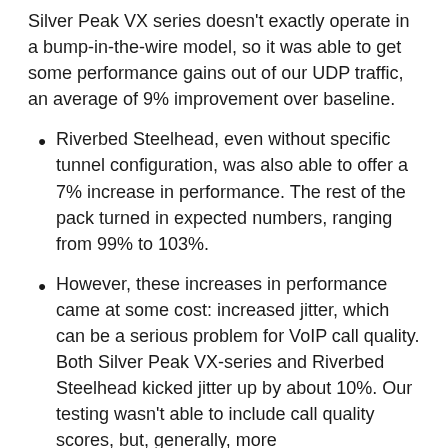Silver Peak VX series doesn't exactly operate in a bump-in-the-wire model, so it was able to get some performance gains out of our UDP traffic, an average of 9% improvement over baseline.
Riverbed Steelhead, even without specific tunnel configuration, was also able to offer a 7% increase in performance. The rest of the pack turned in expected numbers, ranging from 99% to 103%.
However, these increases in performance came at some cost: increased jitter, which can be a serious problem for VoIP call quality. Both Silver Peak VX-series and Riverbed Steelhead kicked jitter up by about 10%. Our testing wasn't able to include call quality scores, but, generally, more